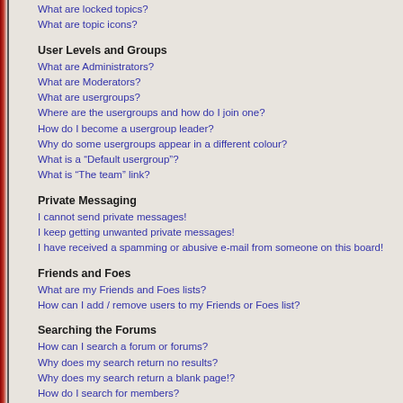What are locked topics?
What are topic icons?
User Levels and Groups
What are Administrators?
What are Moderators?
What are usergroups?
Where are the usergroups and how do I join one?
How do I become a usergroup leader?
Why do some usergroups appear in a different colour?
What is a “Default usergroup”?
What is “The team” link?
Private Messaging
I cannot send private messages!
I keep getting unwanted private messages!
I have received a spamming or abusive e-mail from someone on this board!
Friends and Foes
What are my Friends and Foes lists?
How can I add / remove users to my Friends or Foes list?
Searching the Forums
How can I search a forum or forums?
Why does my search return no results?
Why does my search return a blank page!?
How do I search for members?
How can I find my own posts and topics?
Topic Subscriptions and Bookmarks
What is the difference between bookmarking and subscribing?
How do I subscribe to specific forums or topics?
How do I remove my subscriptions?